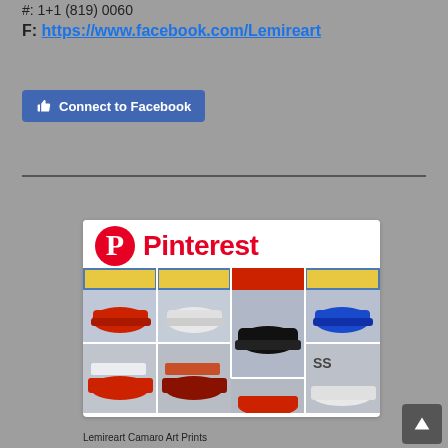#: 1+1 (819) 0060
F: https://www.facebook.com/Lemireart
[Figure (screenshot): Blue 'Connect to Facebook' button with thumbs up icon]
[Figure (screenshot): Pinterest card showing Lemireart Camaro Art Prints with Pinterest logo and grid of car illustrations]
Lemireart Camaro Art Prints